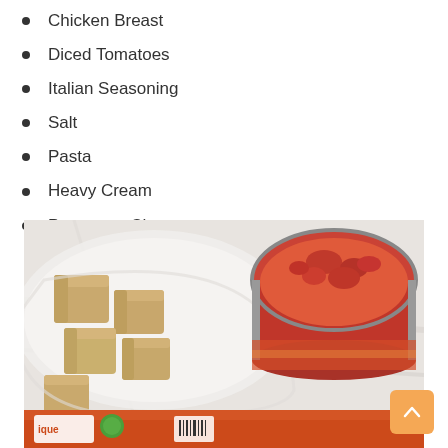Chicken Breast
Diced Tomatoes
Italian Seasoning
Salt
Pasta
Heavy Cream
Parmesan Cheese
[Figure (photo): Overhead view showing cubed chicken breast pieces on a white plate, an open can of diced tomatoes with red tomato sauce, and the edge of a spice package labeled 'ique' on a white marble surface.]